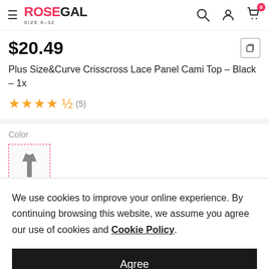ROSEGAL SIZE 8-32
$20.49
Plus Size&Curve Crisscross Lace Panel Cami Top - Black - 1x
★★★★½ (5)
Color
We use cookies to improve your online experience. By continuing browsing this website, we assume you agree our use of cookies and Cookie Policy.
Agree